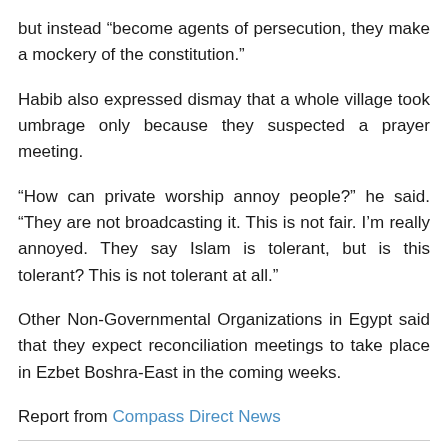but instead “become agents of persecution, they make a mockery of the constitution.”
Habib also expressed dismay that a whole village took umbrage only because they suspected a prayer meeting.
“How can private worship annoy people?” he said. “They are not broadcasting it. This is not fair. I’m really annoyed. They say Islam is tolerant, but is this tolerant? This is not tolerant at all.”
Other Non-Governmental Organizations in Egypt said that they expect reconciliation meetings to take place in Ezbet Boshra-East in the coming weeks.
Report from Compass Direct News